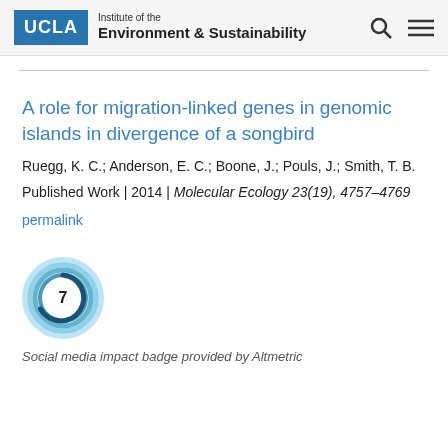UCLA Institute of the Environment & Sustainability
A role for migration-linked genes in genomic islands in divergence of a songbird
Ruegg, K. C.; Anderson, E. C.; Boone, J.; Pouls, J.; Smith, T. B.
Published Work | 2014 | Molecular Ecology 23(19), 4757–4769
permalink
[Figure (other): Altmetric social media impact badge showing score of 7, displayed as a circular donut graphic with blue swirl pattern]
Social media impact badge provided by Altmetric